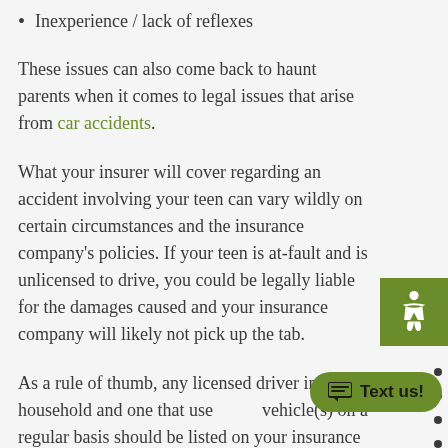Inexperience / lack of reflexes
These issues can also come back to haunt parents when it comes to legal issues that arise from car accidents.
What your insurer will cover regarding an accident involving your teen can vary wildly on certain circumstances and the insurance company's policies. If your teen is at-fault and is unlicensed to drive, you could be legally liable for the damages caused and your insurance company will likely not pick up the tab.
As a rule of thumb, any licensed driver in your household and one that uses your vehicle(s) on a regular basis should be listed on your insurance policy. A proactive